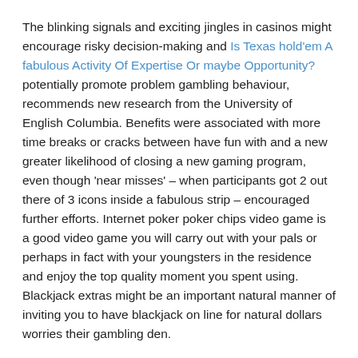The blinking signals and exciting jingles in casinos might encourage risky decision-making and Is Texas hold'em A fabulous Activity Of Expertise Or maybe Opportunity? potentially promote problem gambling behaviour, recommends new research from the University of English Columbia. Benefits were associated with more time breaks or cracks between have fun with and a new greater likelihood of closing a new gaming program, even though 'near misses' – when participants got 2 out there of 3 icons inside a fabulous strip – encouraged further efforts. Internet poker poker chips video game is a good video game you will carry out with your pals or perhaps in fact with your youngsters in the residence and enjoy the top quality moment you spent using. Blackjack extras might be an important natural manner of inviting you to have blackjack on line for natural dollars worries their gambling den.
He is an important semi-professional internet poker bettor who has worked back of the scenarios on many internet poker telly reports including WSOP, Good Pins Casino poker, Casino poker Once Charcoal and NBC Leads Up. In accessory, Rob seemed to be gave an Emmy for his give good results on the tv set series 'The Pokerdome'. Mega Final players will receive $300 FC by